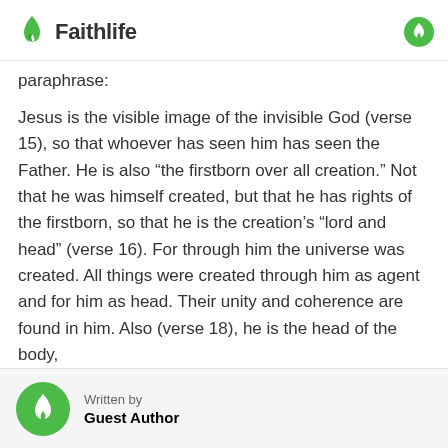Faithlife
paraphrase:
Jesus is the visible image of the invisible God (verse 15), so that whoever has seen him has seen the Father. He is also “the firstborn over all creation.” Not that he was himself created, but that he has rights of the firstborn, so that he is the creation’s “lord and head” (verse 16). For through him the universe was created. All things were created through him as agent and for him as head. Their unity and coherence are found in him. Also (verse 18), he is the head of the body,
Written by
Guest Author